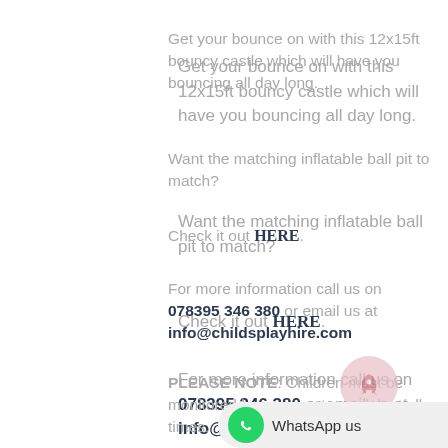Get your bounce on with this 12x15ft bouncy castle which will have you bouncing all day long.
Want the matching inflatable ball pit to match?
Check it out HERE.
For more information call us on 078395 346 380 or email us at info@childsplayhire.com
PLEASE NOTE: Children must be monitored by a competent adult at all times.